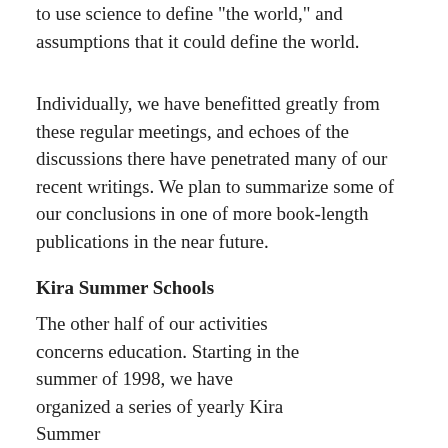to use science to define "the world," and assumptions that it could define the world.
Individually, we have benefitted greatly from these regular meetings, and echoes of the discussions there have penetrated many of our recent writings. We plan to summarize some of our conclusions in one of more book-length publications in the near future.
Kira Summer Schools
The other half of our activities concerns education. Starting in the summer of 1998, we have organized a series of yearly Kira Summer
[Figure (photo): Outdoor photo showing a group of people sitting among trees, with a scenic view in the background. Appears to be a summer school or outdoor gathering setting.]